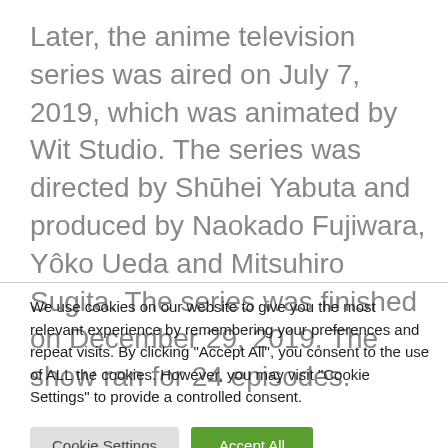Later, the anime television series was aired on July 7, 2019, which was animated by Wit Studio. The series was directed by Shūhei Yabuta and produced by Naokado Fujiwara, Yôko Ueda and Mitsuhiro Sugita. The series was finished on December 29, 2019. The show ran for 24 episodes.
We use cookies on our website to give you the most relevant experience by remembering your preferences and repeat visits. By clicking "Accept All", you consent to the use of ALL the cookies. However, you may visit "Cookie Settings" to provide a controlled consent.